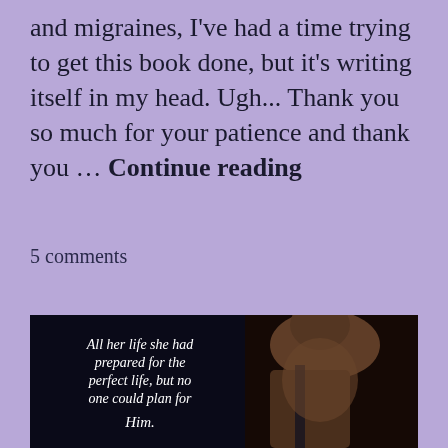and migraines, I've had a time trying to get this book done, but it's writing itself in my head. Ugh... Thank you so much for your patience and thank you … Continue reading
5 comments
[Figure (illustration): Book cover image on dark background with white decorative border. White italic text reads: 'All her life she had prepared for the perfect life, but no one could plan for Him.' Right side shows a woman's neck and shoulder in profile.]